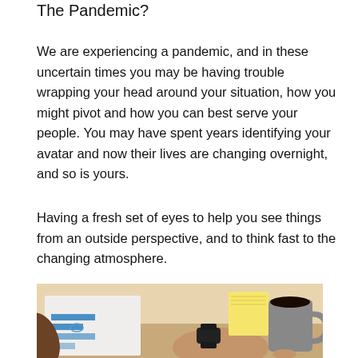The Pandemic?
We are experiencing a pandemic, and in these uncertain times you may be having trouble wrapping your head around your situation, how you might pivot and how you can best serve your people. You may have spent years identifying your avatar and now their lives are changing overnight, and so is yours.
Having a fresh set of eyes to help you see things from an outside perspective, and to think fast to the changing atmosphere.
[Figure (photo): Two people sitting at a desk with charts, notebooks, a coffee mug, and a smartwatch-wearing wrist visible on a wooden table surface.]